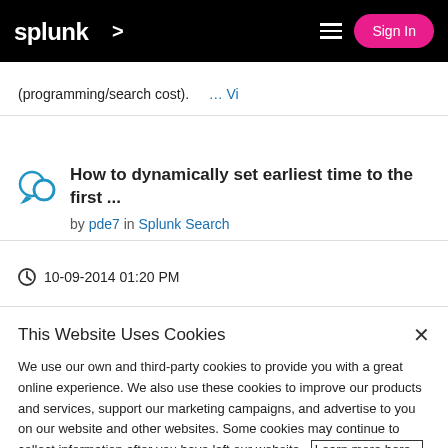splunk> | Sign In
(programming/search cost). … Vi
How to dynamically set earliest time to the first ...
by pde7 in Splunk Search
10-09-2014 01:20 PM
This Website Uses Cookies
We use our own and third-party cookies to provide you with a great online experience. We also use these cookies to improve our products and services, support our marketing campaigns, and advertise to you on our website and other websites. Some cookies may continue to collect information after you have left our website. Learn more here ›
Accept Cookies
Cookies Settings ›